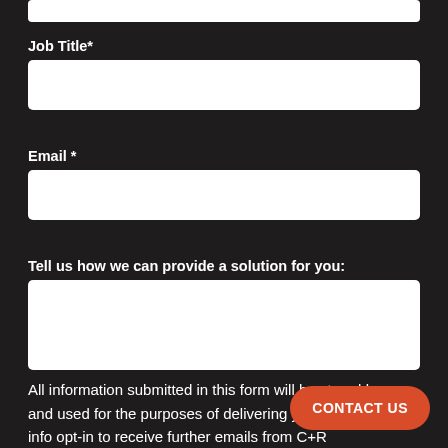Job Title*
Email *
Tell us how we can provide a solution for you:
All information submitted in this form will be stored by us and used for the purposes of delivering you the requested info opt-in to receive further emails from C+R
CONTACT US